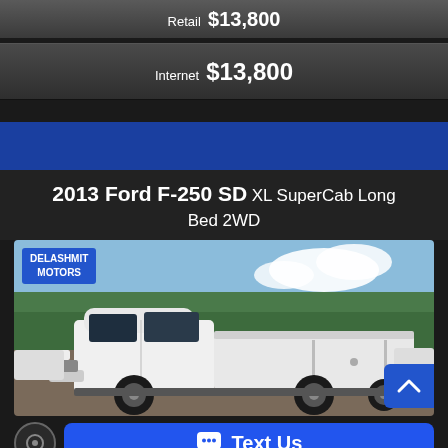Retail $13,800
Internet $13,800
2013 Ford F-250 SD XL SuperCab Long Bed 2WD
[Figure (photo): White 2013 Ford F-250 SD XL SuperCab Long Bed 2WD truck parked at Delashmit Motors dealership lot, with trees and sky in background.]
Text Us